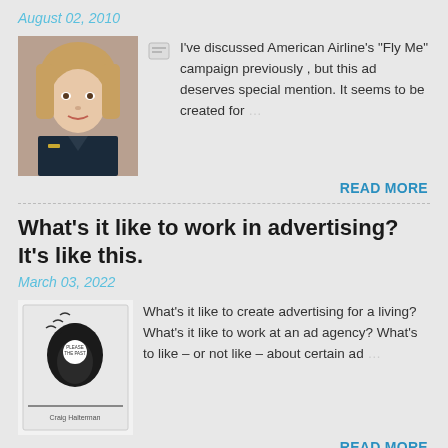August 02, 2010
[Figure (photo): Thumbnail photo of a woman in an airline uniform with short hair and a wing pin badge]
I've discussed American Airline's "Fly Me" campaign previously , but this ad deserves special mention. It seems to be created for …
READ MORE
What's it like to work in advertising? It's like this.
March 03, 2022
[Figure (photo): Book cover thumbnail showing a silhouette of a head with birds flying out and a white circle inside, with author name Craig Halterman at the bottom]
What's it like to create advertising for a living? What's it like to work at an ad agency?  What's to like – or not like – about certain ad …
READ MORE